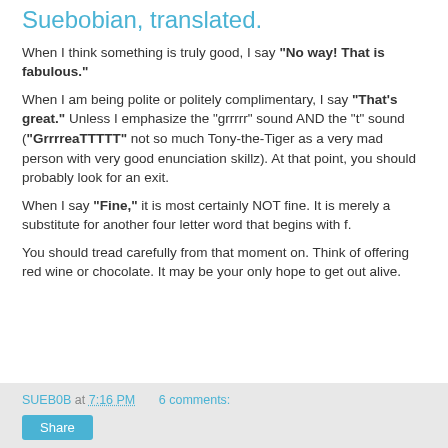Suebobian, translated.
When I think something is truly good, I say "No way! That is fabulous."
When I am being polite or politely complimentary, I say "That's great." Unless I emphasize the "grrrrr" sound AND the "t" sound ("GrrrreaTTTTT" not so much Tony-the-Tiger as a very mad person with very good enunciation skillz). At that point, you should probably look for an exit.
When I say "Fine," it is most certainly NOT fine. It is merely a substitute for another four letter word that begins with f.
You should tread carefully from that moment on. Think of offering red wine or chocolate. It may be your only hope to get out alive.
SUEB0B at 7:16 PM   6 comments:   Share